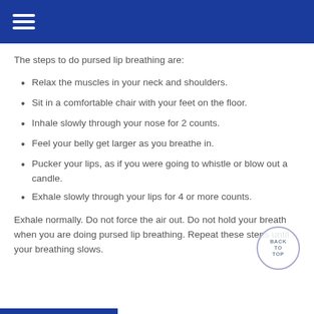The steps to do pursed lip breathing are:
Relax the muscles in your neck and shoulders.
Sit in a comfortable chair with your feet on the floor.
Inhale slowly through your nose for 2 counts.
Feel your belly get larger as you breathe in.
Pucker your lips, as if you were going to whistle or blow out a candle.
Exhale slowly through your lips for 4 or more counts.
Exhale normally. Do not force the air out. Do not hold your breath when you are doing pursed lip breathing. Repeat these steps until your breathing slows.